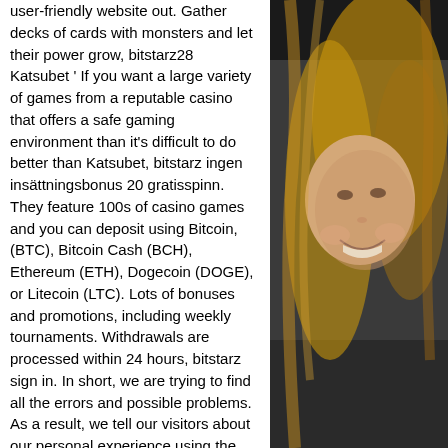user-friendly website out. Gather decks of cards with monsters and let their power grow, bitstarz28
 Katsubet ' If you want a large variety of games from a reputable casino that offers a safe gaming environment than it's difficult to do better than Katsubet, bitstarz ingen insättningsbonus 20 gratisspinn. They feature 100s of casino games and you can deposit using Bitcoin, (BTC), Bitcoin Cash (BCH), Ethereum (ETH), Dogecoin (DOGE), or Litecoin (LTC). Lots of bonuses and promotions, including weekly tournaments. Withdrawals are processed within 24 hours, bitstarz sign in. In short, we are trying to find all the errors and possible problems. As a result, we tell our visitors about our personal experience using the site and provide information about its stability and overall performance, 30 gratissnurr no deposit bitstarz. BetChain operates under an Antill. Phone. No concern. bitstarz. At the
[Figure (photo): Partial photo of a smiling woman with long blonde hair, appearing to be in a vehicle or dark background setting.]